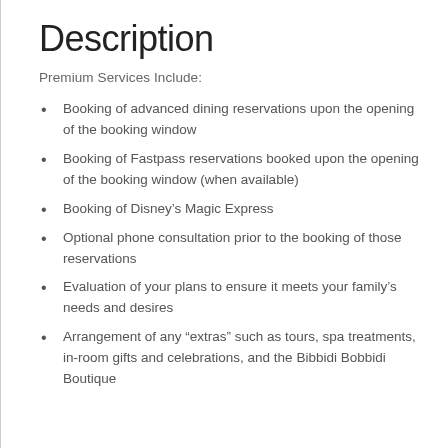Description
Premium Services Include:
Booking of advanced dining reservations upon the opening of the booking window
Booking of Fastpass reservations booked upon the opening of the booking window (when available)
Booking of Disney’s Magic Express
Optional phone consultation prior to the booking of those reservations
Evaluation of your plans to ensure it meets your family’s needs and desires
Arrangement of any “extras” such as tours, spa treatments, in-room gifts and celebrations, and the Bibbidi Bobbidi Boutique